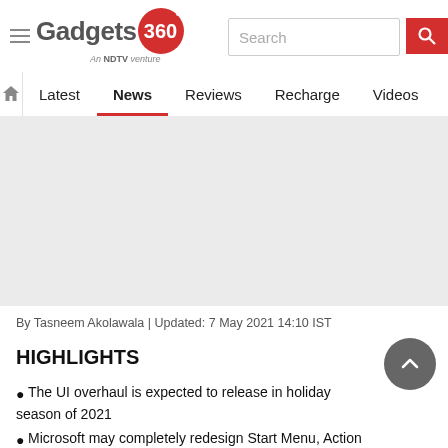Gadgets 360 — An NDTV Venture | Search bar | Navigation: Latest, News (active), Reviews, Recharge, Videos, M…
[Figure (other): Gray advertisement placeholder block]
By Tasneem Akolawala | Updated: 7 May 2021 14:10 IST
HIGHLIGHTS
The UI overhaul is expected to release in holiday season of 2021
Microsoft may completely redesign Start Menu, Action Center